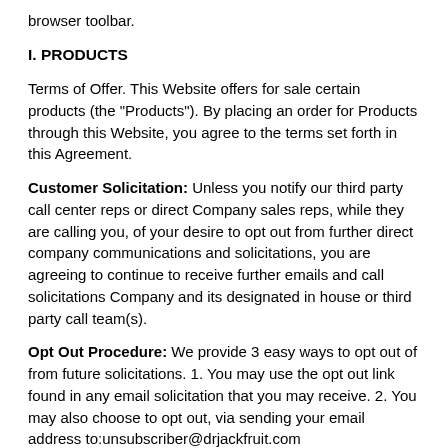browser toolbar.
I. PRODUCTS
Terms of Offer. This Website offers for sale certain products (the "Products"). By placing an order for Products through this Website, you agree to the terms set forth in this Agreement.
Customer Solicitation: Unless you notify our third party call center reps or direct Company sales reps, while they are calling you, of your desire to opt out from further direct company communications and solicitations, you are agreeing to continue to receive further emails and call solicitations Company and its designated in house or third party call team(s).
Opt Out Procedure: We provide 3 easy ways to opt out of from future solicitations. 1. You may use the opt out link found in any email solicitation that you may receive. 2. You may also choose to opt out, via sending your email address to:unsubscriber@drjackfruit.com